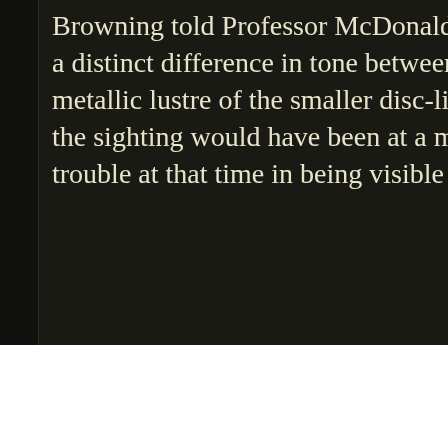Browning told Professor McDonald that the sun was illuminating a distinct difference in tone between the dull grey of the large metallic lustre of the smaller disc-like objects. The moon was the sighting would have been at a mere 6 degrees to the east trouble at that time in being visible over mountains to the east